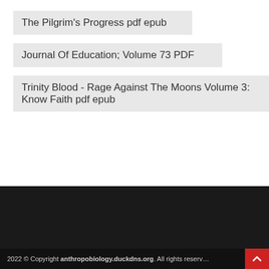The Pilgrim's Progress pdf epub
Journal Of Education; Volume 73 PDF
Trinity Blood - Rage Against The Moons Volume 3: Know Faith pdf epub
2022 © Copyright anthropobiology.duckdns.org. All rights reserved.